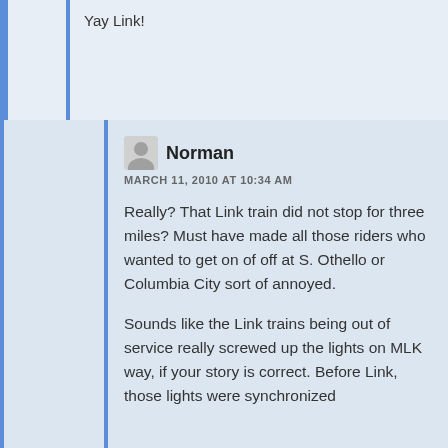Yay Link!
Norman
MARCH 11, 2010 AT 10:34 AM
Really? That Link train did not stop for three miles? Must have made all those riders who wanted to get on of off at S. Othello or Columbia City sort of annoyed.
Sounds like the Link trains being out of service really screwed up the lights on MLK way, if your story is correct. Before Link, those lights were synchronized